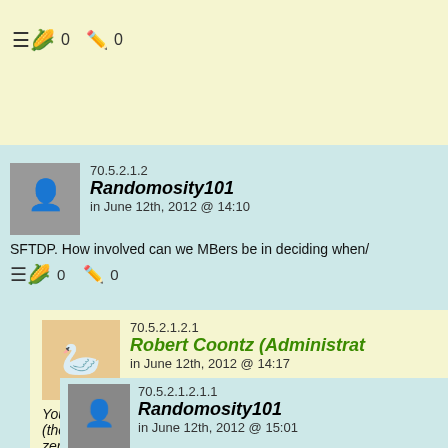0   0
70.5.2.1.2
Randomosity101
in June 12th, 2012 @ 14:10
SFTDP. How involved can we MBers be in deciding when/
0   0
70.5.2.1.2.1
Robert Coontz (Administra
in June 12th, 2012 @ 14:17
You can be as involved as you like, off the blog. We (there are lurkers who never post), so we limit the in zero.
0   0
70.5.2.1.2.1.1
Randomosity101
in June 12th, 2012 @ 15:01